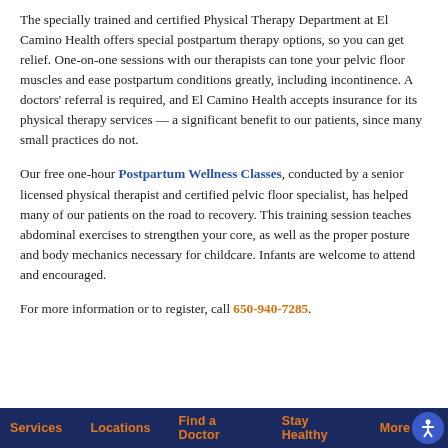The specially trained and certified Physical Therapy Department at El Camino Health offers special postpartum therapy options, so you can get relief. One-on-one sessions with our therapists can tone your pelvic floor muscles and ease postpartum conditions greatly, including incontinence. A doctors' referral is required, and El Camino Health accepts insurance for its physical therapy services — a significant benefit to our patients, since many small practices do not.
Our free one-hour Postpartum Wellness Classes, conducted by a senior licensed physical therapist and certified pelvic floor specialist, has helped many of our patients on the road to recovery. This training session teaches abdominal exercises to strengthen your core, as well as the proper posture and body mechanics necessary for childcare. Infants are welcome to attend and encouraged.
For more information or to register, call 650-940-7285.
Services  Locations  Find a Doctor  Stay Healthy  More